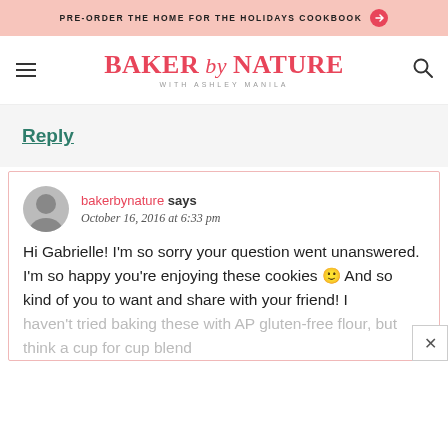PRE-ORDER THE HOME FOR THE HOLIDAYS COOKBOOK
[Figure (logo): Baker by Nature with Ashley Manila logo in red/pink italic serif font]
Reply
bakerbynature says
October 16, 2016 at 6:33 pm

Hi Gabrielle! I'm so sorry your question went unanswered. I'm so happy you're enjoying these cookies 🙂 And so kind of you to want and share with your friend! I haven't tried baking these with AP gluten-free flour, but think a cup for cup blend...